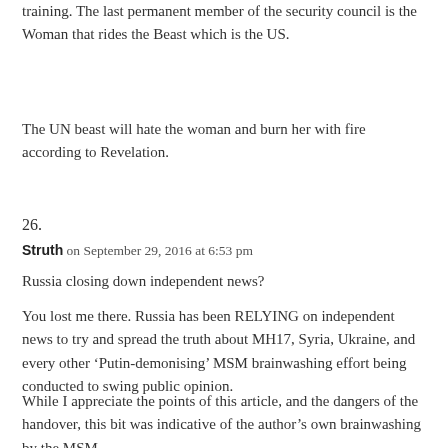training. The last permanent member of the security council is the Woman that rides the Beast which is the US.
The UN beast will hate the woman and burn her with fire according to Revelation.
26.
Struth on September 29, 2016 at 6:53 pm
Russia closing down independent news?
You lost me there. Russia has been RELYING on independent news to try and spread the truth about MH17, Syria, Ukraine, and every other ‘Putin-demonising’ MSM brainwashing effort being conducted to swing public opinion.
While I appreciate the points of this article, and the dangers of the handover, this bit was indicative of the author’s own brainwashing by the MSM.